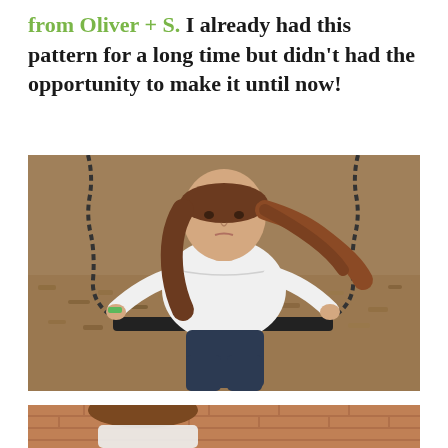from Oliver + S. I already had this pattern for a long time but didn't had the opportunity to make it until now!
[Figure (photo): A young girl with long brown hair sitting on a playground swing, wearing a white long-sleeve blouse and dark navy pants, holding the chains on each side. Background shows wood chip ground cover.]
[Figure (photo): Partial view of another photo showing a child near a brick wall, wearing a white top, only head/upper body partially visible.]